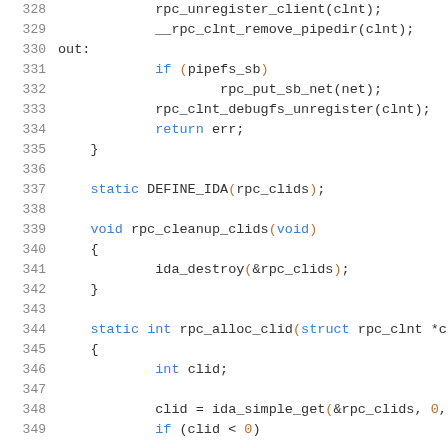Code listing lines 328-349, C source code for RPC client cleanup and allocation functions